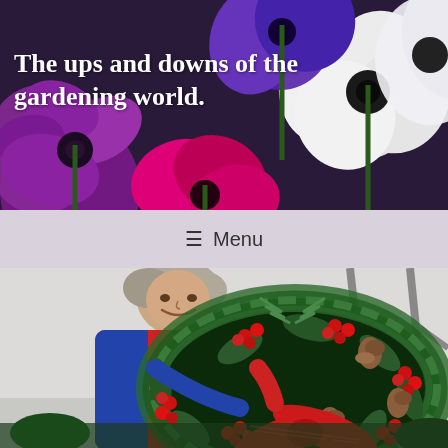[Figure (photo): Header photo of colorful anemone flowers — purple, red, and white — arranged in a bunch against a light background]
The ups and downs of the gardening world.
≡ Menu
[Figure (photo): Woman smiling and holding a large decorative Christmas wreath made of holly, red berries, pine cones, evergreen branches, and a red plaid ribbon bow, inside a greenhouse]